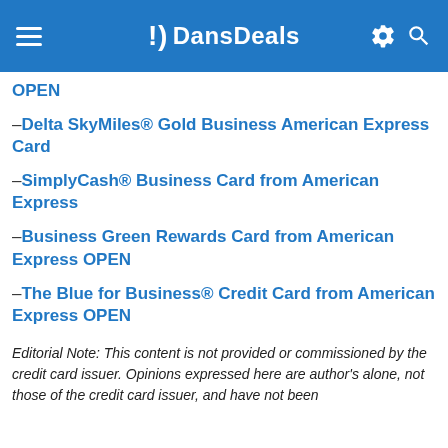DansDeals
OPEN
–Delta SkyMiles® Gold Business American Express Card
–SimplyCash® Business Card from American Express
–Business Green Rewards Card from American Express OPEN
–The Blue for Business® Credit Card from American Express OPEN
Editorial Note: This content is not provided or commissioned by the credit card issuer. Opinions expressed here are author's alone, not those of the credit card issuer, and have not been reviewed, approved or otherwise endorsed by the credit card issuer.